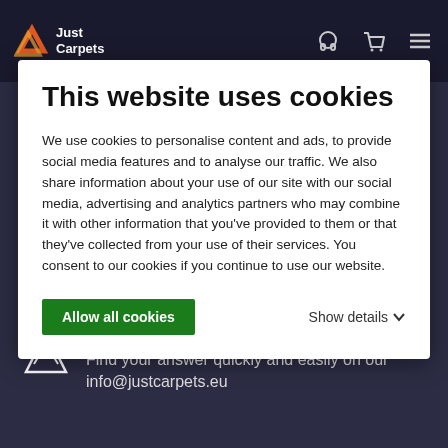[Figure (logo): Just Carpets logo with orange/red angular icon and white text]
This website uses cookies
We use cookies to personalise content and ads, to provide social media features and to analyse our traffic. We also share information about your use of our site with our social media, advertising and analytics partners who may combine it with other information that you've provided to them or that they've collected from your use of their services. You consent to our cookies if you continue to use our website.
Allow all cookies
Show details
Do you have a question?
Find your answer quickly and easily on our
info@justcarpets.eu